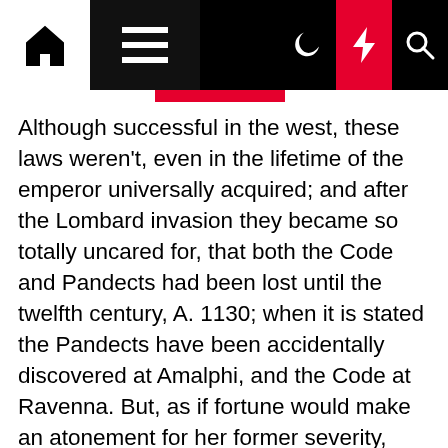Navigation bar with home, menu, moon, bolt, and search icons
Although successful in the west, these laws weren't, even in the lifetime of the emperor universally acquired; and after the Lombard invasion they became so totally uncared for, that both the Code and Pandects had been lost until the twelfth century, A. 1130; when it is stated the Pandects have been accidentally discovered at Amalphi, and the Code at Ravenna. But, as if fortune would make an atonement for her former severity, they've since been the examine of the wisest males, and revered as law, by the politest nations. LAW. In its most general and comprehensive sense, law signifies a rule of motion; and this time period is applied indiscriminately to all types of motion; whether animate or inanimate, rational or irrational. In its extra confined sense, law denotes the rule, not of actions normally, however of human action or conduct. In